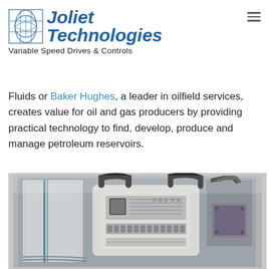[Figure (logo): Joliet Technologies logo with globe/grid icon and italic blue text, tagline: Variable Speed Drives & Controls]
Fluids or Baker Hughes, a leader in oilfield services, creates value for oil and gas producers by providing practical technology to find, develop, produce and manage petroleum reservoirs.
[Figure (photo): Interior of an industrial electrical control panel with wiring, circuit components, terminal blocks, and mounted control devices inside a metal enclosure.]